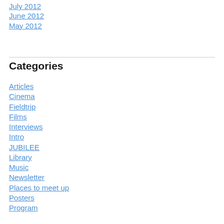July 2012
June 2012
May 2012
Categories
Articles
Cinema
Fieldtrip
Films
Interviews
Intro
JUBILEE
Library
Music
Newsletter
Places to meet up
Posters
Program